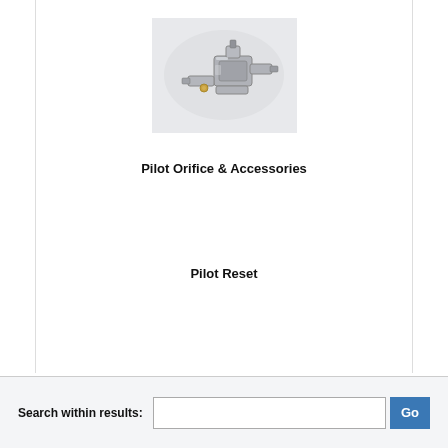[Figure (photo): Photo of pilot orifice and accessories — small metal fittings and components on a light grey background]
Pilot Orifice & Accessories
Pilot Reset
Search within results: